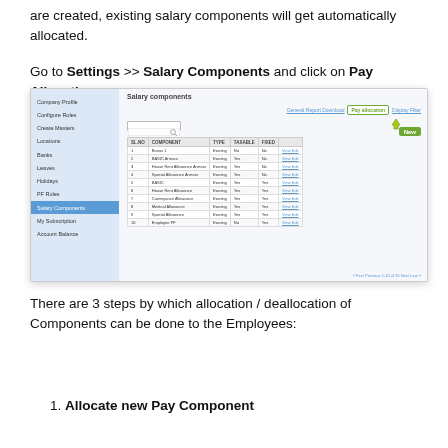are created, existing salary components will get automatically allocated.
Go to Settings >> Salary Components and click on Pay Allocation.
[Figure (screenshot): Screenshot of Salary Components settings page showing a list of components with columns for SL.NO, COMPONENT, TYPE, TAXABLE, and FIXED. A highlighted 'Pay allocation' button is shown in the toolbar with an arrow pointing to it. The sidebar shows menu items including Company Profile, Configure Roles, Create Masters, Locations, Banks, Leaves, Holidays, PF Rules, Salary Components, My Subscription, Account Balance.]
There are 3 steps by which allocation / deallocation of Components can be done to the Employees:
1. Allocate new Pay Component